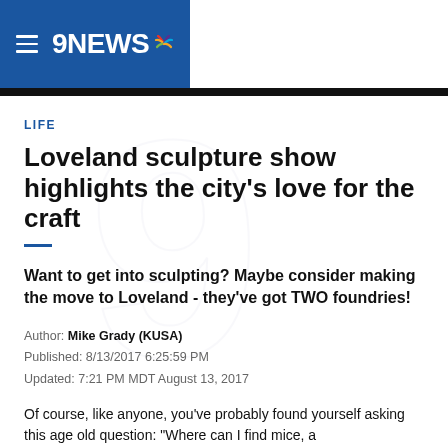9NEWS
LIFE
Loveland sculpture show highlights the city's love for the craft
Want to get into sculpting? Maybe consider making the move to Loveland - they've got TWO foundries!
Author: Mike Grady (KUSA)
Published: 8/13/2017 6:25:59 PM
Updated: 7:21 PM MDT August 13, 2017
Of course, like anyone, you've probably found yourself asking this age old question: "Where can I find mice, a